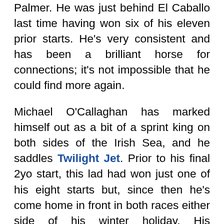Palmer. He was just behind El Caballo last time having won six of his eleven prior starts. He's very consistent and has been a brilliant horse for connections; it's not impossible that he could find more again.
Michael O'Callaghan has marked himself out as a bit of a sprint king on both sides of the Irish Sea, and he saddles Twilight Jet. Prior to his final 2yo start, this lad had won just one of his eight starts but, since then he's come home in front in both races either side of his winter holiday. His performance in the G3 Lacken Stakes first up this season was particularly impressive; he's another front-